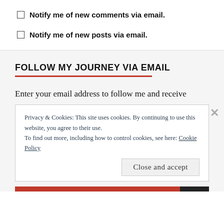Notify me of new comments via email.
Notify me of new posts via email.
FOLLOW MY JOURNEY VIA EMAIL
Enter your email address to follow me and receive
Privacy & Cookies: This site uses cookies. By continuing to use this website, you agree to their use.
To find out more, including how to control cookies, see here: Cookie Policy
Close and accept